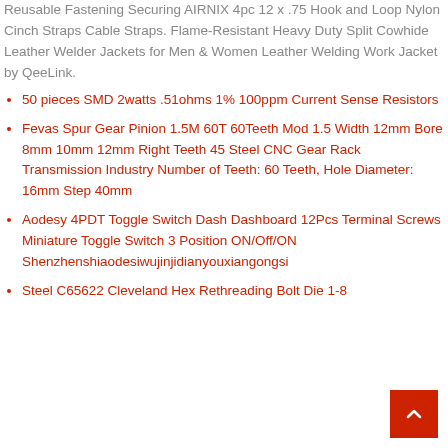Reusable Fastening Securing AIRNIX 4pc 12 x .75 Hook and Loop Nylon Cinch Straps Cable Straps. Flame-Resistant Heavy Duty Split Cowhide Leather Welder Jackets for Men & Women Leather Welding Work Jacket by QeeLink.
50 pieces SMD 2watts .51ohms 1% 100ppm Current Sense Resistors
Fevas Spur Gear Pinion 1.5M 60T 60Teeth Mod 1.5 Width 12mm Bore 8mm 10mm 12mm Right Teeth 45 Steel CNC Gear Rack Transmission Industry Number of Teeth: 60 Teeth, Hole Diameter: 16mm Step 40mm
Aodesy 4PDT Toggle Switch Dash Dashboard 12Pcs Terminal Screws Miniature Toggle Switch 3 Position ON/Off/ON Shenzhenshiaodesiwujinjidianyouxiangongsi
Steel C65622 Cleveland Hex Rethreading Bolt Die 1-8